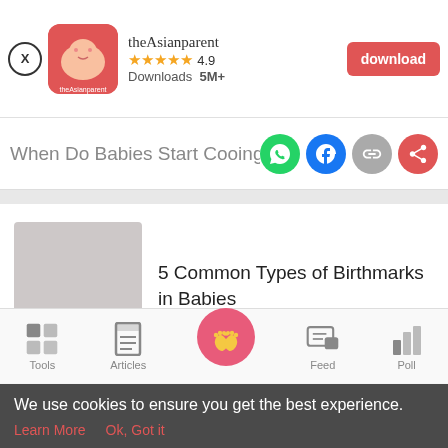[Figure (screenshot): App download banner for theAsianparent app with logo, 4.9 star rating, 5M+ downloads, and red download button]
When Do Babies Start Cooing? 7 Tips
[Figure (screenshot): Social share icons: WhatsApp (green), Facebook (blue), link (gray), forward (red)]
[Figure (photo): Placeholder thumbnail image (gray square) for article]
5 Common Types of Birthmarks in Babies
[Figure (screenshot): Bottom navigation bar with Tools, Articles, home (baby feet pink circle), Feed, Poll icons]
We use cookies to ensure you get the best experience.
Learn More   Ok, Got it